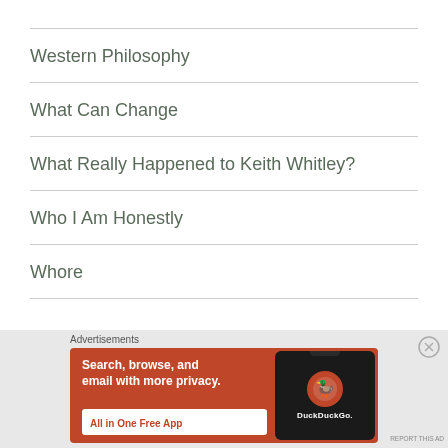Western Philosophy
What Can Change
What Really Happened to Keith Whitley?
Who I Am Honestly
Whore
[Figure (other): DuckDuckGo advertisement banner with orange background showing 'Search, browse, and email with more privacy. All in One Free App' with a smartphone image showing the DuckDuckGo logo.]